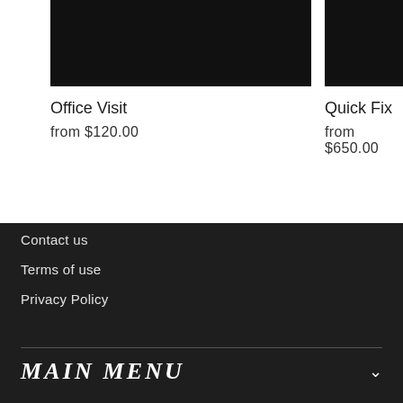[Figure (photo): Black product image for Office Visit]
Office Visit
from $120.00
[Figure (photo): Black product image for Quick Fix (partially visible)]
Quick Fix
from $650.00
Contact us
Terms of use
Privacy Policy
MAIN MENU